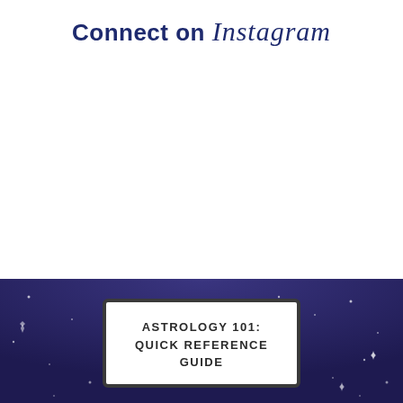Connect on Instagram
[Figure (illustration): Dark navy background section with scattered stars/sparkles, containing a book/screen widget showing 'Astrology 101: Quick Reference Guide']
ASTROLOGY 101:
QUICK REFERENCE GUIDE